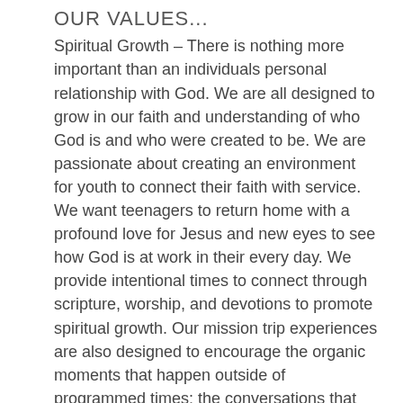OUR VALUES...
Spiritual Growth – There is nothing more important than an individuals personal relationship with God. We are all designed to grow in our faith and understanding of who God is and who were created to be. We are passionate about creating an environment for youth to connect their faith with service. We want teenagers to return home with a profound love for Jesus and new eyes to see how God is at work in their every day. We provide intentional times to connect through scripture, worship, and devotions to promote spiritual growth. Our mission trip experiences are also designed to encourage the organic moments that happen outside of programmed times: the conversations that happen around the dinner table, the relationships formed at projects sites, the stories that connect participants and encourage them in